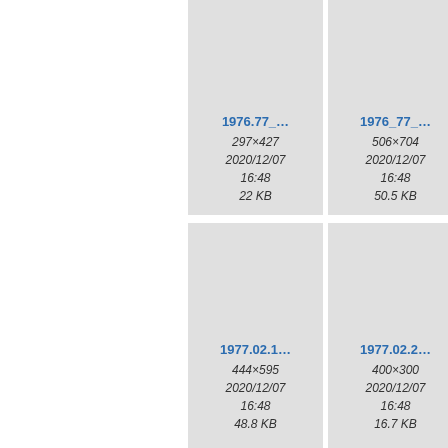[Figure (screenshot): File browser thumbnail grid showing image files with metadata. Row 1: 1976.77_... (297x427, 2020/12/07 16:48, 22 KB), 1976_77_... (506x704, 2020/12/07 16:48, 50.5 KB), partial third cell. Row 2: 1977.02.1... (444x595, 2020/12/07 16:48, 48.8 KB), 1977.02.2... (400x300, 2020/12/07 16:48, 16.7 KB), partial third cell. Row 3: partial cells at bottom.]